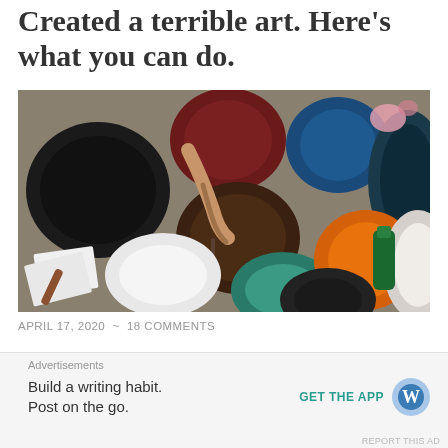Created a terrible art. Here's what you can do.
[Figure (photo): Overhead view of a person's hand holding a paintbrush stirring a brown paint bucket, surrounded by many open paint buckets of various colors including black, dark red, blue, teal, white, orange, and green on a concrete surface, with papers and tools visible.]
APRIL 17, 2020 ~ 18 COMMENTS
This post was originally published in Kris' Instagram account. Featured Photo by russn_fckr on Unsplash
Advertisements
Build a writing habit. Post on the go.
GET THE APP